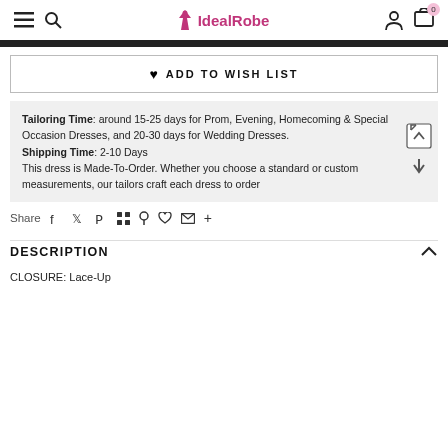IdealRobe — navigation header with hamburger menu, search icon, logo, user icon, and cart (0)
ADD TO WISH LIST
Tailoring Time: around 15-25 days for Prom, Evening, Homecoming & Special Occasion Dresses, and 20-30 days for Wedding Dresses. Shipping Time: 2-10 Days This dress is Made-To-Order. Whether you choose a standard or custom measurements, our tailors craft each dress to order
Share
DESCRIPTION
CLOSURE: Lace-Up